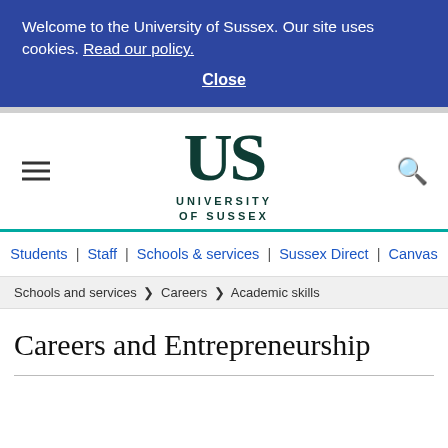Welcome to the University of Sussex. Our site uses cookies. Read our policy.
Close
[Figure (logo): University of Sussex logo with 'US' monogram in dark teal and text 'UNIVERSITY OF SUSSEX']
Students | Staff | Schools & services | Sussex Direct | Canvas
Schools and services > Careers > Academic skills
Careers and Entrepreneurship